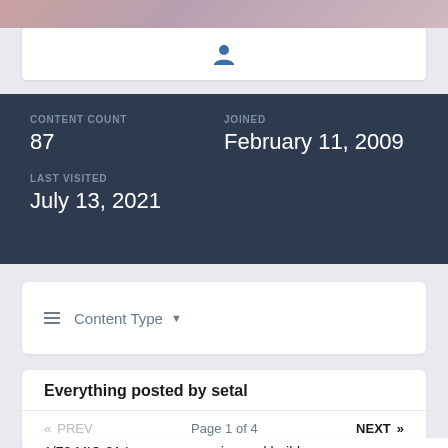[Figure (photo): Top banner with muted pink and mauve gradient colors]
[Figure (illustration): User avatar placeholder icon (person silhouette) in blue on white background]
CONTENT COUNT
87
JOINED
February 11, 2009
LAST VISITED
July 13, 2021
≡  Content Type ▾
Everything posted by setal
«  PREV    Page 1 of 4    NEXT  »
1/72 MIC-21 Lancer conversion and build